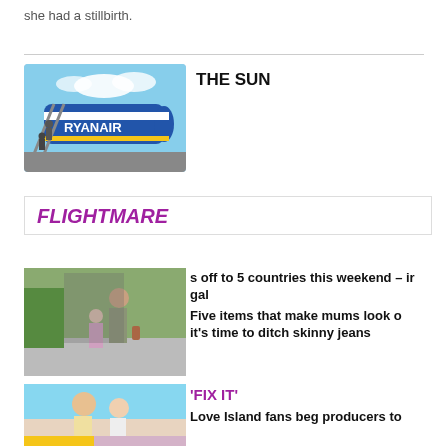she had a stillbirth.
[Figure (photo): Passengers boarding a Ryanair aircraft]
THE SUN
FLIGHTMARE
[Figure (photo): Woman and child walking on a street, seen from behind]
s off to 5 countries this weekend – ir gal
Five items that make mums look o it's time to ditch skinny jeans
[Figure (photo): Two people on what appears to be a reality TV show, Love Island]
'FIX IT'
Love Island fans beg producers to